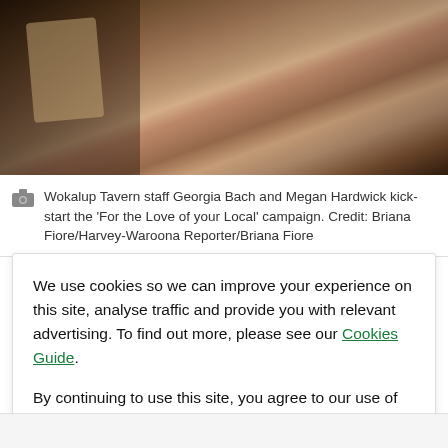[Figure (photo): Photo of Wokalup Tavern staff members, two women at a bar, one pouring a beer.]
Wokalup Tavern staff Georgia Bach and Megan Hardwick kick-start the 'For the Love of your Local' campaign. Credit: Briana Fiore/Harvey-Waroona Reporter/Briana Fiore
[Figure (infographic): Social media share buttons: Facebook, Twitter, Email, Link]
We use cookies so we can improve your experience on this site, analyse traffic and provide you with relevant advertising. To find out more, please see our Cookies Guide.

By continuing to use this site, you agree to our use of cookies.